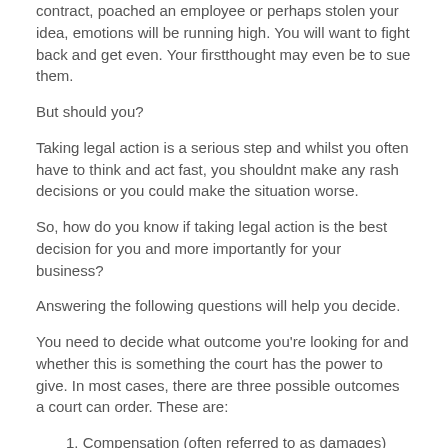contract, poached an employee or perhaps stolen your idea, emotions will be running high. You will want to fight back and get even. Your firstthought may even be to sue them.
But should you?
Taking legal action is a serious step and whilst you often have to think and act fast, you shouldnt make any rash decisions or you could make the situation worse.
So, how do you know if taking legal action is the best decision for you and more importantly for your business?
Answering the following questions will help you decide.
You need to decide what outcome you're looking for and whether this is something the court has the power to give. In most cases, there are three possible outcomes a court can order. These are:
1. Compensation (often referred to as damages)